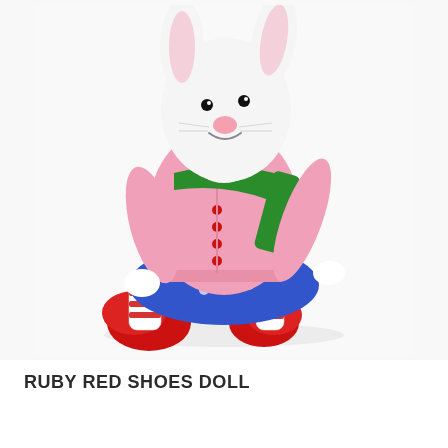[Figure (photo): A stuffed rabbit doll (Ruby Red Shoes) sitting upright against a white background. The doll has a white plush bunny head with pink nose and black eyes, wearing a pink knitted cardigan with red buttons, a green scarf, a blue patterned skirt, red and white striped socks, and red shoes.]
RUBY RED SHOES DOLL